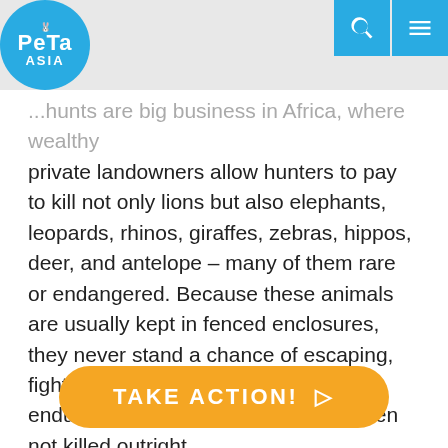PETA ASIA
...hunts are big business in Africa, where wealthy private landowners allow hunters to pay to kill not only lions but also elephants, leopards, rhinos, giraffes, zebras, hippos, deer, and antelope – many of them rare or endangered. Because these animals are usually kept in fenced enclosures, they never stand a chance of escaping, fighting back, or surviving, and many endure a prolonged, painful death when not killed outright.

Please send a quick message to the President of Zimbabwe asking him to stop allowing heartless foreigners to murder Africa's wildlife.
TAKE ACTION! ▷